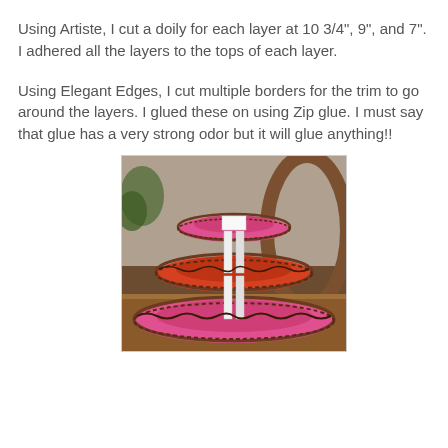Using Artiste, I cut a doily for each layer at 10 3/4", 9", and 7".  I adhered all the layers to the tops of each layer.
Using Elegant Edges, I cut multiple borders for the trim to go around the layers.  I glued these on using Zip glue.  I must say that glue has a very strong odor but it will glue anything!!
[Figure (photo): A three-tiered cardboard cake stand with decorative laser-cut brown borders and doily patterns. The tiers alternate pink and orange/red colors, connected by white square cardboard columns in the center. The stand is photographed on a wooden table with a chair and plant visible in the background.]